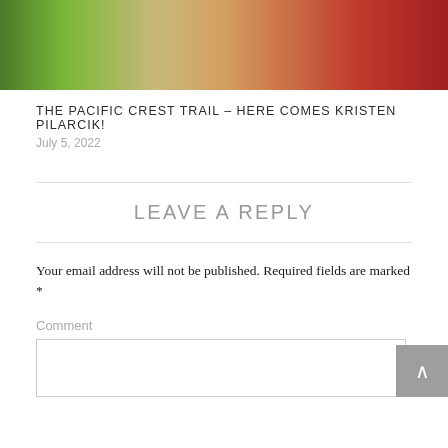[Figure (photo): Cropped top portion of a photo showing green foliage/broccoli on the left, blonde hair in the center, and a red garment on the right.]
THE PACIFIC CREST TRAIL – HERE COMES KRISTEN PILARCIK!
July 5, 2022
LEAVE A REPLY
Your email address will not be published. Required fields are marked *
Comment